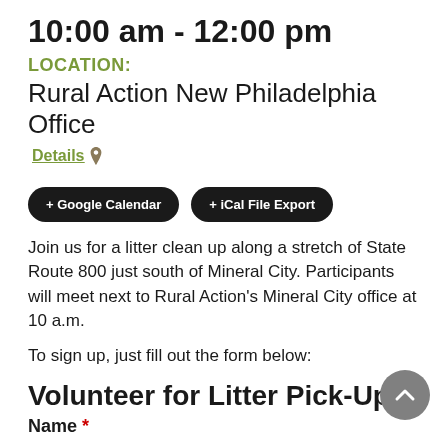10:00 am - 12:00 pm
LOCATION:
Rural Action New Philadelphia Office
Details 📍
+ Google Calendar  + iCal File Export
Join us for a litter clean up along a stretch of State Route 800 just south of Mineral City. Participants will meet next to Rural Action's Mineral City office at 10 a.m.
To sign up, just fill out the form below:
Volunteer for Litter Pick-Up
Name *